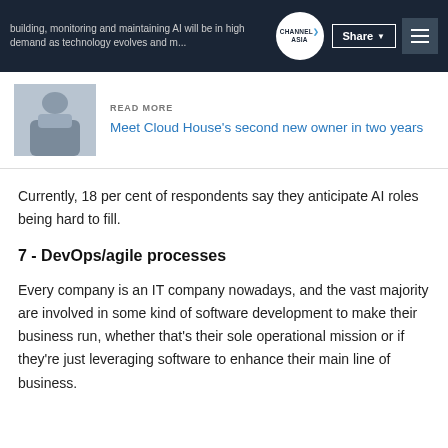building, monitoring and maintaining AI will be in high demand as technology evolves and m... | CHANNEL ASIA | Share | Menu
[Figure (photo): Thumbnail photo of a man in a suit, used as article illustration for 'Meet Cloud House's second new owner in two years']
READ MORE
Meet Cloud House's second new owner in two years
Currently, 18 per cent of respondents say they anticipate AI roles being hard to fill.
7 - DevOps/agile processes
Every company is an IT company nowadays, and the vast majority are involved in some kind of software development to make their business run, whether that's their sole operational mission or if they're just leveraging software to enhance their main line of business.